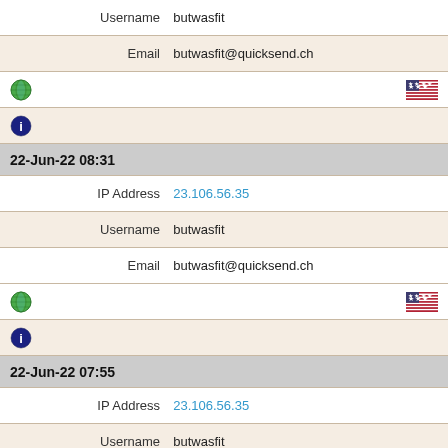Username  butwasfit
Email  butwasfit@quicksend.ch
[Figure (infographic): Globe icon on left, US flag icon on right]
[Figure (infographic): Lock/info icon]
22-Jun-22 08:31
IP Address  23.106.56.35
Username  butwasfit
Email  butwasfit@quicksend.ch
[Figure (infographic): Globe icon on left, US flag icon on right]
[Figure (infographic): Lock/info icon]
22-Jun-22 07:55
IP Address  23.106.56.35
Username  butwasfit
Email  butwasfit@quicksend.ch
[Figure (infographic): Globe icon on left, US flag icon on right]
[Figure (infographic): Lock/info icon]
22-Jun-22 05:50